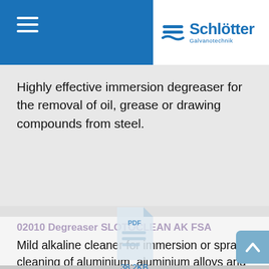[Figure (logo): Schlötter Galvanotechnik logo with blue wave icon and company name]
Highly effective immersion degreaser for the removal of oil, grease or drawing compounds from steel.
[Figure (other): PDF file icon with 38.2KB label]
02010 Degreaser SLOTOCLEAN AK FSA
Mild alkaline cleaner for immersion or spray cleaning of aluminium, aluminium alloys and zinc die-casts.